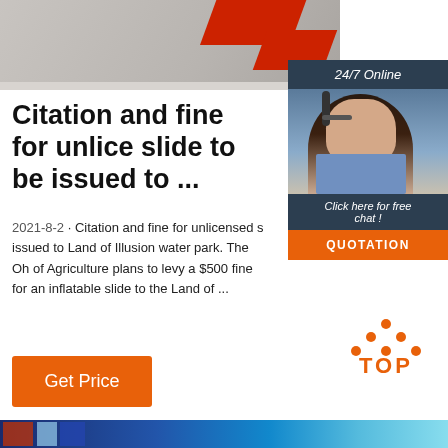[Figure (photo): Top portion of a photo showing a grey concrete surface with red inflatable slide elements visible]
[Figure (infographic): 24/7 Online chat widget with photo of woman wearing headset, 'Click here for free chat!' text, and orange QUOTATION button]
Citation and fine for unlice slide to be issued to ...
2021-8-2 · Citation and fine for unlicensed s issued to Land of Illusion water park. The Oh of Agriculture plans to levy a $500 fine for an inflatable slide to the Land of ...
Get Price
[Figure (other): Orange dots arranged in triangle/arrow shape pointing up, with 'TOP' text in orange below]
[Figure (photo): Bottom strip showing partial image with blue tones]